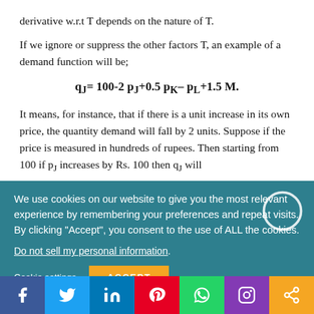derivative w.r.t T depends on the nature of T.
If we ignore or suppress the other factors T, an example of a demand function will be;
It means, for instance, that if there is a unit increase in its own price, the quantity demand will fall by 2 units. Suppose if the price is measured in hundreds of rupees. Then starting from 100 if p_J increases by Rs. 100 then q_J will decrease by 2 units.
We use cookies on our website to give you the most relevant experience by remembering your preferences and repeat visits. By clicking “Accept”, you consent to the use of ALL the cookies.
Do not sell my personal information.
Cookie settings   ACCEPT